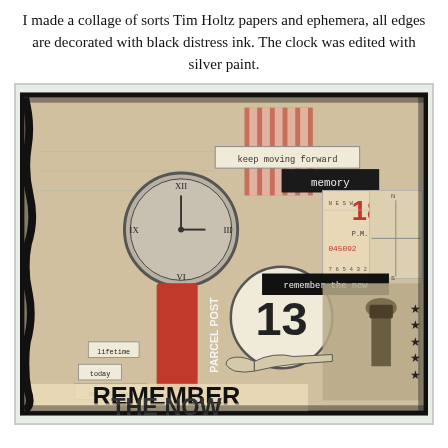I made a collage of sorts Tim Holtz papers and ephemera, all edges are decorated with black distress ink. The clock was edited with silver paint.
[Figure (photo): A Tim Holtz style mixed media collage scrapbook layout featuring vintage ephemera including: a clock, parcel post stamp in red, number 13 circle, pointing hand illustration, a man in top hat vintage photo, stars, text labels reading 'keep moving forward', 'memory', 'remember the now', 'lifetime', 'today', 'be original', numbers 18, 045092, and large text 'REMEMBER THE NOW' at the bottom. Edges are inked with black distress ink on aged tan/sepia background.]